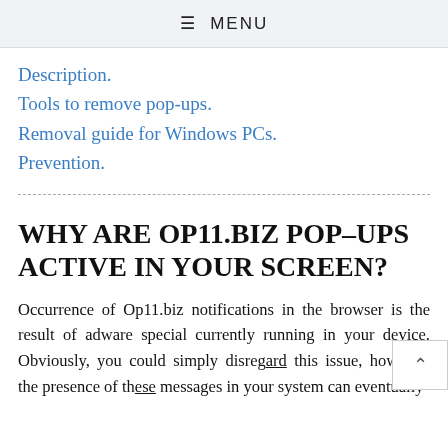☰ MENU
Description.
Tools to remove pop-ups.
Removal guide for Windows PCs.
Prevention.
WHY ARE OP11.BIZ POP-UPS ACTIVE IN YOUR SCREEN?
Occurrence of Op11.biz notifications in the browser is the result of adware special currently running in your device. Obviously, you could simply disregard this issue, however, the presence of these messages in your system can eventually